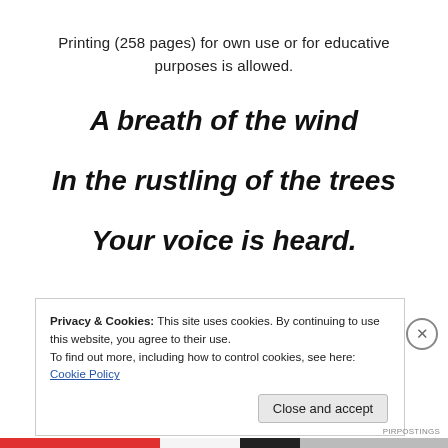Printing (258 pages) for own use or for educative purposes is allowed.
A breath of the wind
In the rustling of the trees
Your voice is heard.
Privacy & Cookies: This site uses cookies. By continuing to use this website, you agree to their use.
To find out more, including how to control cookies, see here: Cookie Policy
Close and accept